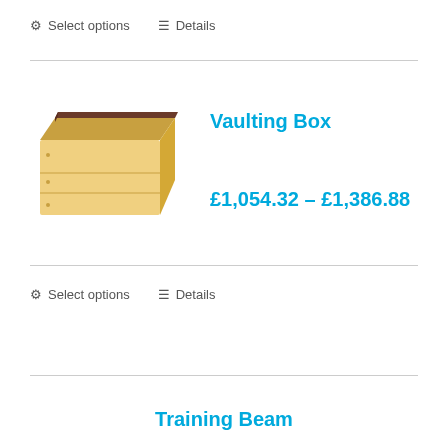⚙ Select options  ≡ Details
[Figure (photo): Wooden vaulting box with a dark padded top surface]
Vaulting Box
£1,054.32 – £1,386.88
⚙ Select options  ≡ Details
Training Beam